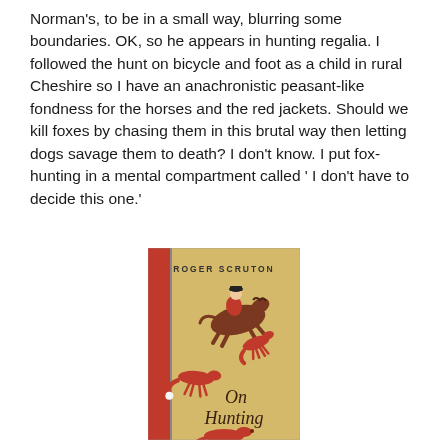Norman's, to be in a small way, blurring some boundaries. OK, so he appears in hunting regalia. I followed the hunt on bicycle and foot as a child in rural Cheshire so I have an anachronistic peasant-like fondness for the horses and the red jackets. Should we kill foxes by chasing them in this brutal way then letting dogs savage them to death? I don't know. I put fox-hunting in a mental compartment called ' I don't have to decide this one.'
[Figure (illustration): Book cover of 'On Hunting' by Roger Scruton. Tan/gold background with a red spine strip on the left. Shows a rider on a jumping horse, two foxes, and italic text reading 'On Hunting'.]